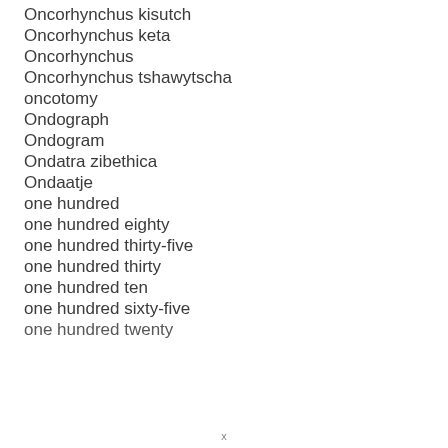Oncorhynchus kisutch
Oncorhynchus keta
Oncorhynchus
Oncorhynchus tshawytscha
oncotomy
Ondograph
Ondogram
Ondatra zibethica
Ondaatje
one hundred
one hundred eighty
one hundred thirty-five
one hundred thirty
one hundred ten
one hundred sixty-five
one hundred twenty
x